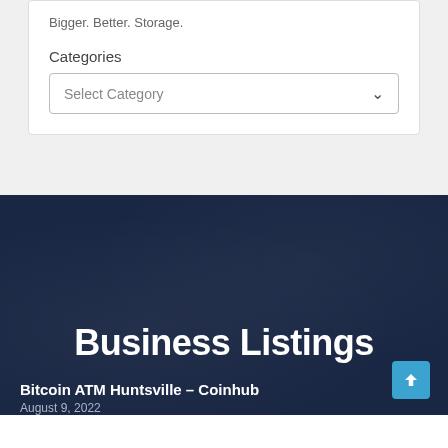Bigger. Better. Storage.
Categories
Select Category
Business Listings
Bitcoin ATM Huntsville – Coinhub
August 9, 2022